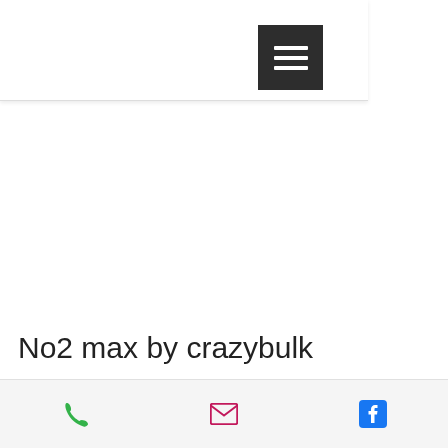[Figure (other): Navigation hamburger menu button — dark gray square with three white horizontal lines]
No2 max by crazybulk
By increasing the blood circulation and the amount of oxygen in the blood, NO2 Max stimulates the production of nitric oxide,
[Figure (other): Bottom navigation bar with phone icon (green), email icon (pink/magenta), and Facebook icon (blue)]